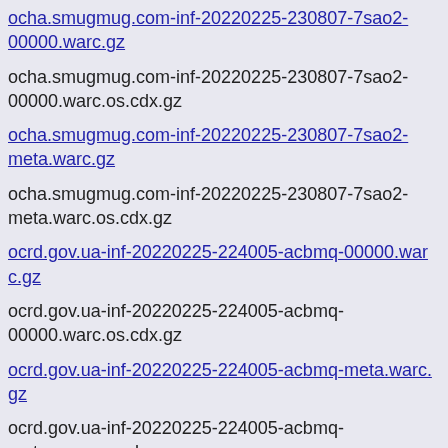ocha.smugmug.com-inf-20220225-230807-7sao2-00000.warc.gz (link)
ocha.smugmug.com-inf-20220225-230807-7sao2-00000.warc.os.cdx.gz
ocha.smugmug.com-inf-20220225-230807-7sao2-meta.warc.gz (link)
ocha.smugmug.com-inf-20220225-230807-7sao2-meta.warc.os.cdx.gz
ocrd.gov.ua-inf-20220225-224005-acbmq-00000.warc.gz (link)
ocrd.gov.ua-inf-20220225-224005-acbmq-00000.warc.os.cdx.gz
ocrd.gov.ua-inf-20220225-224005-acbmq-meta.warc.gz (link)
ocrd.gov.ua-inf-20220225-224005-acbmq-meta.warc.os.cdx.gz
ocrd.gov.ua-inf-20220225-224005-acbmq.json (link)
plsz.gov.ua-inf-20220225-224016-7ra31-00000.warc.gz (link)
plsz.gov.ua-inf-20220225-224016-7ra31-00000.warc.os.cdx.gz